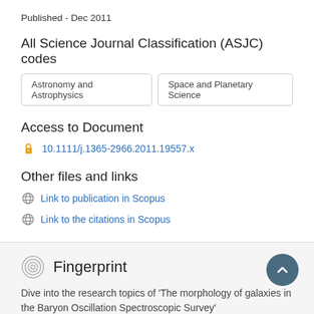Published - Dec 2011
All Science Journal Classification (ASJC) codes
Astronomy and Astrophysics
Space and Planetary Science
Access to Document
10.1111/j.1365-2966.2011.19557.x
Other files and links
Link to publication in Scopus
Link to the citations in Scopus
Fingerprint
Dive into the research topics of 'The morphology of galaxies in the Baryon Oscillation Spectroscopic Survey'